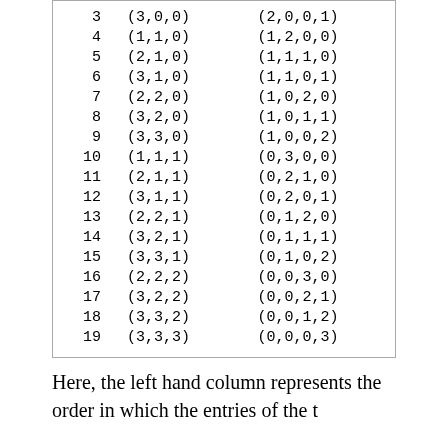| 3 | (3,0,0) | (2,0,0,1) |
| 4 | (1,1,0) | (1,2,0,0) |
| 5 | (2,1,0) | (1,1,1,0) |
| 6 | (3,1,0) | (1,1,0,1) |
| 7 | (2,2,0) | (1,0,2,0) |
| 8 | (3,2,0) | (1,0,1,1) |
| 9 | (3,3,0) | (1,0,0,2) |
| 10 | (1,1,1) | (0,3,0,0) |
| 11 | (2,1,1) | (0,2,1,0) |
| 12 | (3,1,1) | (0,2,0,1) |
| 13 | (2,2,1) | (0,1,2,0) |
| 14 | (3,2,1) | (0,1,1,1) |
| 15 | (3,3,1) | (0,1,0,2) |
| 16 | (2,2,2) | (0,0,3,0) |
| 17 | (3,2,2) | (0,0,2,1) |
| 18 | (3,3,2) | (0,0,1,2) |
| 19 | (3,3,3) | (0,0,0,3) |
Here, the left hand column represents the order in which the entries of the t...